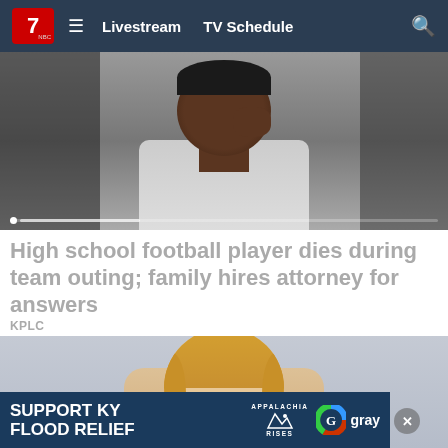7 NBC | Livestream  TV Schedule
[Figure (photo): Hero image of a young Black male athlete in a white shirt with hand near his face, partially obscured by dark side panels. Progress dots/bar at bottom.]
High school football player dies during team outing; family hires attorney for answers
KPLC
[Figure (photo): Advertisement image showing a smiling blonde woman holding a phone device against a light blue-grey background.]
[Figure (infographic): Ad banner: SUPPORT KY FLOOD RELIEF with Appalachia Rises logo and Gray Television logo.]